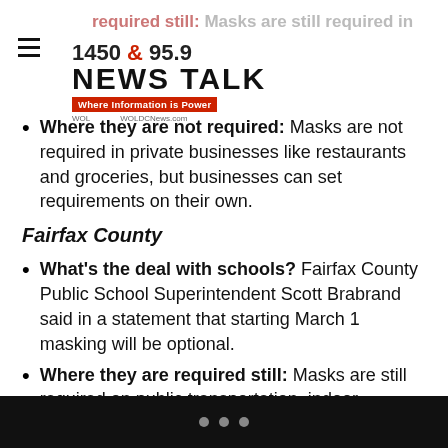1450 & 95.9 NEWS TALK — Where Information is Power
Where they are not required: Masks are not required in private businesses like restaurants and groceries, but businesses can set requirements on their own.
Fairfax County
What's the deal with schools? Fairfax County Public School Superintendent Scott Brabrand said in a statement that starting March 1 masking will be optional.
Where they are required still: Masks are still required on public transportation, indoor government facilities, healthcare settings, (including clinics operated by Fairfax County Health Department and Fairfax-Falls Church Community Services Board) and congregate settings (jails,
• • •